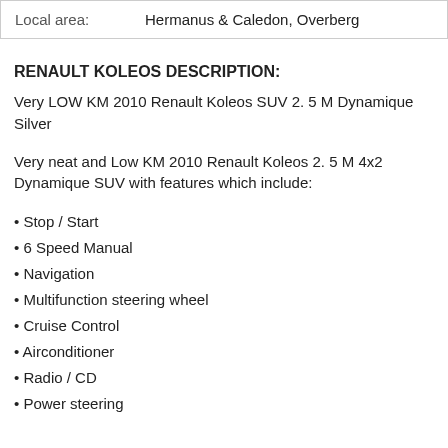| Local area: | Hermanus & Caledon, Overberg |
| --- | --- |
RENAULT KOLEOS DESCRIPTION:
Very LOW KM 2010 Renault Koleos SUV 2. 5 M Dynamique Silver
Very neat and Low KM 2010 Renault Koleos 2. 5 M 4x2 Dynamique SUV with features which include:
• Stop / Start
• 6 Speed Manual
• Navigation
• Multifunction steering wheel
• Cruise Control
• Airconditioner
• Radio / CD
• Power steering